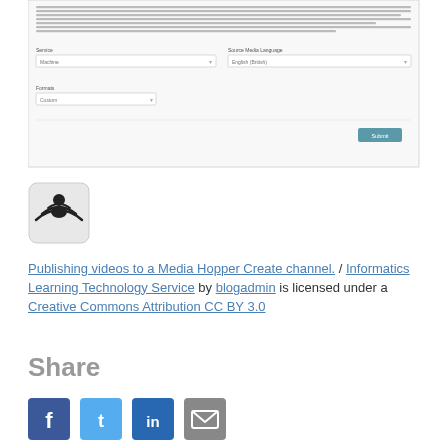[Figure (screenshot): Screenshot of a web form for automated captions with service and source media language dropdowns, a format dropdown set to Custom, and a Submit button]
[Figure (logo): Creative Commons Attribution license icon — a rounded square with wireless/broadcast symbol and person silhouette]
Publishing videos to a Media Hopper Create channel. / Informatics Learning Technology Service by blogadmin is licensed under a Creative Commons Attribution CC BY 3.0
Share
[Figure (infographic): Row of social sharing icons: Facebook (blue), Twitter (light blue), LinkedIn (dark blue), and email/share (grey)]